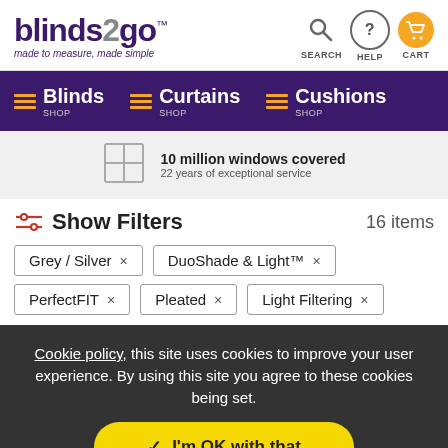[Figure (logo): blinds2go logo with tagline 'made to measure, made simple' and navigation icons for SEARCH, HELP, CART]
[Figure (infographic): Purple navigation bar with Blinds, Curtains, Cushions SHOP links with orange hamburger icons]
[Figure (infographic): Trust bar: 10 million windows covered, 22 years of exceptional service with window icon]
Show Filters   16 items
Grey / Silver ×
DuoShade & Light™ ×
PerfectFIT ×
Pleated ×
Light Filtering ×
Cookie policy, this site uses cookies to improve your user experience. By using this site you agree to these cookies being set.